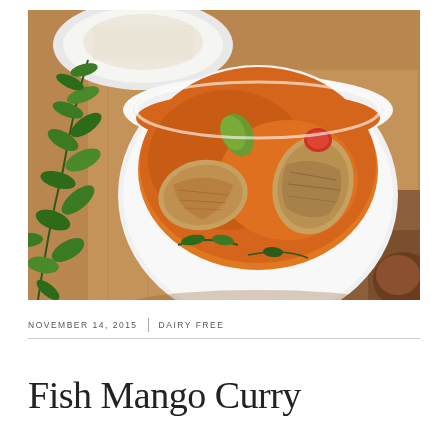[Figure (photo): Overhead photo of a white bowl filled with orange fish mango curry containing two pieces of fish, green curry leaves, and a tomato piece, placed on a burlap cloth surface with fresh curry leaves and a white plate of rice in the background.]
NOVEMBER 14, 2015  |  DAIRY FREE
Fish Mango Curry